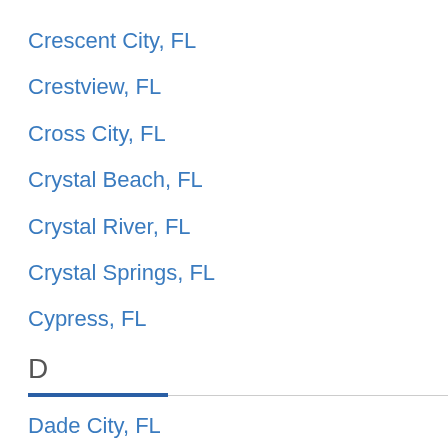Crescent City, FL
Crestview, FL
Cross City, FL
Crystal Beach, FL
Crystal River, FL
Crystal Springs, FL
Cypress, FL
D
Dade City, FL
Dania, FL